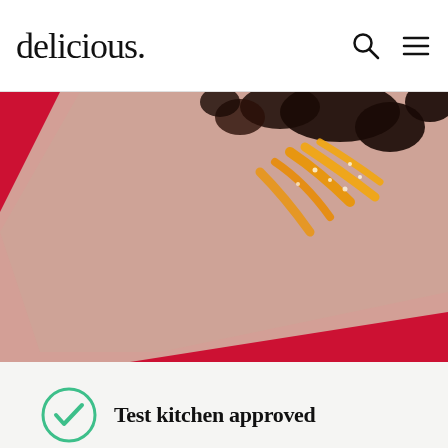delicious.
[Figure (photo): Close-up photo of chocolate bark with candied orange peel strips on parchment paper, against a vivid red background]
Test kitchen approved